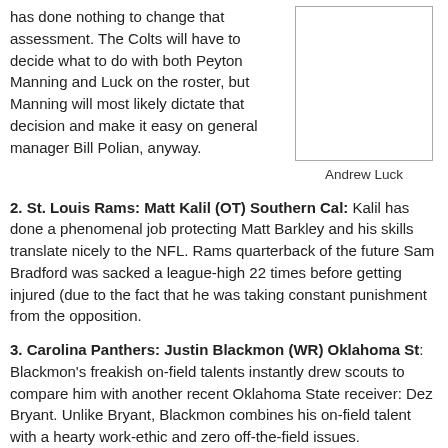has done nothing to change that assessment. The Colts will have to decide what to do with both Peyton Manning and Luck on the roster, but Manning will most likely dictate that decision and make it easy on general manager Bill Polian, anyway.
[Figure (photo): Photo of Andrew Luck]
Andrew Luck
2. St. Louis Rams: Matt Kalil (OT) Southern Cal: Kalil has done a phenomenal job protecting Matt Barkley and his skills translate nicely to the NFL. Rams quarterback of the future Sam Bradford was sacked a league-high 22 times before getting injured (due to the fact that he was taking constant punishment from the opposition.
3. Carolina Panthers: Justin Blackmon (WR) Oklahoma St: Blackmon's freakish on-field talents instantly drew scouts to compare him with another recent Oklahoma State receiver: Dez Bryant. Unlike Bryant, Blackmon combines his on-field talent with a hearty work-ethic and zero off-the-field issues. Additionally, Steve Smith will be a 33-year-old